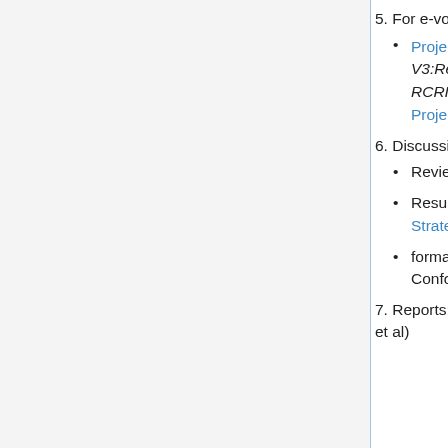5. For e-vote this week:
Project approval request for Reaffirmation of HL7 V3:Regulated Studies; Annotated ECG (aECG) R1 for RCRIM OF DESD at Project Insight #1057 and TSC Tracker 2801
6. Discussion topics:
Review of remaining 5-year old projects
Results of e-discussion on proposed changes to Strategic Initiatives
formation of a TSC task force on Help Desk and Conformance testing
7. Reports: (attach written reports below from Steering Divisions et al)